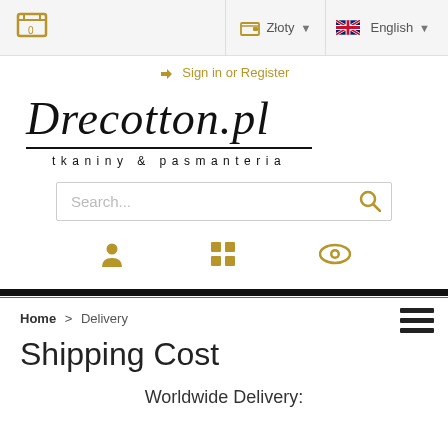Cart (0) | Złoty | English
Sign in or Register
[Figure (logo): Drecotton.pl logo with script font and tagline 'tkaniny & pasmanteria']
Search...
Breadcrumb: Home > Delivery
Shipping Cost
Worldwide Delivery: